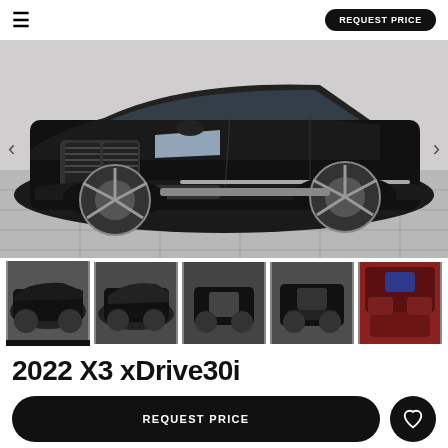REQUEST PRICE
[Figure (photo): 2022 BMW X3 xDrive30i black SUV photographed from front-left three-quarter angle in a dealership lot with tiled floor]
[Figure (photo): Thumbnail 1: BMW X3 side view (selected)]
[Figure (photo): Thumbnail 2: BMW X3 front-left angle]
[Figure (photo): Thumbnail 3: BMW X3 front view]
[Figure (photo): Thumbnail 4: BMW X3 rear view]
[Figure (photo): Thumbnail 5: BMW X3 interior dashboard with red seats]
2022 X3 xDrive30i
REQUEST PRICE